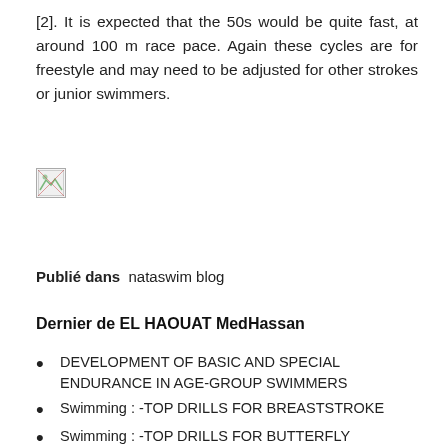[2]. It is expected that the 50s would be quite fast, at around 100 m race pace. Again these cycles are for freestyle and may need to be adjusted for other strokes or junior swimmers.
[Figure (photo): Broken image placeholder (image failed to load)]
Publié dans  nataswim blog
Dernier de EL HAOUAT MedHassan
DEVELOPMENT OF BASIC AND SPECIAL ENDURANCE IN AGE-GROUP SWIMMERS
Swimming : -TOP DRILLS FOR BREASTSTROKE
Swimming : -TOP DRILLS FOR BUTTERFLY
Training and testing of competitive swimmers